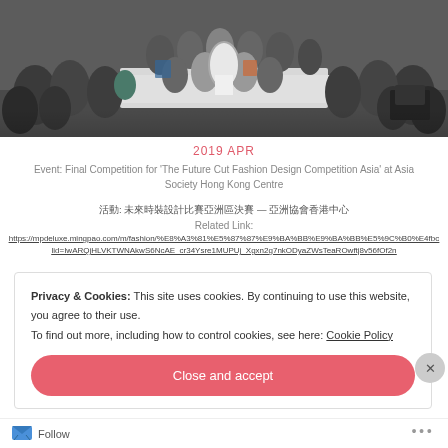[Figure (photo): Group photo of many people at a fashion design competition event, gathered around a runway/table in a large hall.]
2019 APR
Event: Final Competition for 'The Future Cut Fashion Design Competition Asia' at Asia Society Hong Kong Centre
活動：未來Fashion Design Competition決賽 — 亞洲協會香港中心
Related Link:
https://mpdeluxe.mingpao.com/m/fashion/%E8%A3%81%E5%B7%BA%E9%E5%A4%A9%E5%9C%B0%E4fbclid=IwARQjHLVKTWNAkwS6NcAE_cr34Ysre1MUPUj_Xgxn2g7nkODyaZWsTeaROwftj8v56fOf2n
Privacy & Cookies: This site uses cookies. By continuing to use this website, you agree to their use. To find out more, including how to control cookies, see here: Cookie Policy
Close and accept
Follow